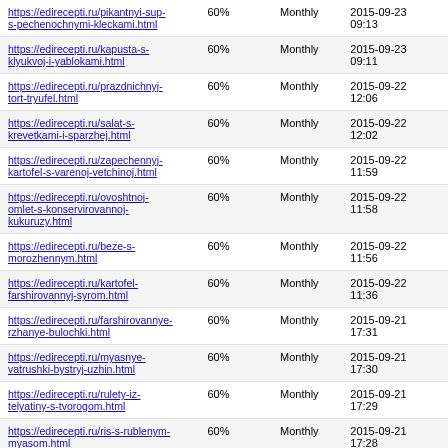| URL | Priority | Change Freq | Last Modified |
| --- | --- | --- | --- |
| https://edirecepti.ru/pikantnyi-sup-s-pechenochnymi-kleckami.html | 60% | Monthly | 2015-09-23 09:13 |
| https://edirecepti.ru/kapusta-s-klyukvoj-i-yablokami.html | 60% | Monthly | 2015-09-23 09:11 |
| https://edirecepti.ru/prazdnichnyj-tort-tryufel.html | 60% | Monthly | 2015-09-22 12:06 |
| https://edirecepti.ru/salat-s-krevetkami-i-sparzhej.html | 60% | Monthly | 2015-09-22 12:02 |
| https://edirecepti.ru/zapechennyj-kartofel-s-varenoj-vetchinoj.html | 60% | Monthly | 2015-09-22 11:59 |
| https://edirecepti.ru/ovoshtnoj-omlet-s-konservirovannoj-kukuruzy.html | 60% | Monthly | 2015-09-22 11:58 |
| https://edirecepti.ru/beze-s-morozhennym.html | 60% | Monthly | 2015-09-22 11:56 |
| https://edirecepti.ru/kartofel-farshirovannyj-syrom.html | 60% | Monthly | 2015-09-22 11:36 |
| https://edirecepti.ru/farshirovannye-rzhanye-bulochki.html | 60% | Monthly | 2015-09-21 17:31 |
| https://edirecepti.ru/myasnye-vatrushki-bystryj-uzhin.html | 60% | Monthly | 2015-09-21 17:30 |
| https://edirecepti.ru/rulety-iz-telyatiny-s-tvorogom.html | 60% | Monthly | 2015-09-21 17:29 |
| https://edirecepti.ru/ris-s-rublenym-myasom.html | 60% | Monthly | 2015-09-21 17:28 |
| https://edirecepti.ru/pshenichnaya-kasha-s-myasom.html | 60% | Monthly | 2015-09-21 17:26 |